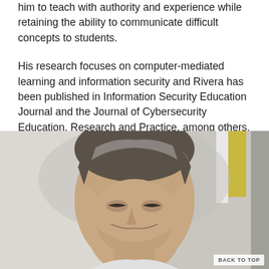him to teach with authority and experience while retaining the ability to communicate difficult concepts to students.
His research focuses on computer-mediated learning and information security and Rivera has been published in Information Security Education Journal and the Journal of Cybersecurity Education, Research and Practice, among others.
[Figure (photo): Portrait photo of a middle-aged man with gray-brown hair, smiling, photographed outdoors with a blurred background showing yellow and green elements.]